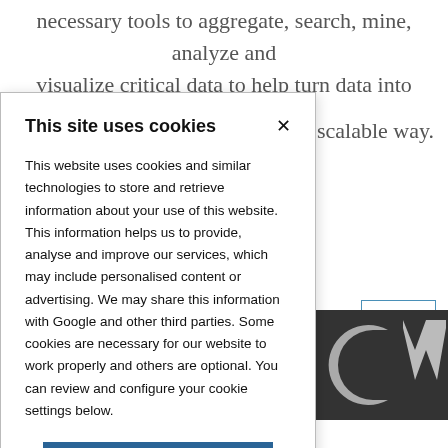necessary tools to aggregate, search, mine, analyze and visualize critical data to help turn data into actionable
nd scalable way.
[Figure (screenshot): Partial view of a website interface showing a DATA button and a dark panel with CW logo]
This site uses cookies
This website uses cookies and similar technologies to store and retrieve information about your use of this website. This information helps us to provide, analyse and improve our services, which may include personalised content or advertising. We may share this information with Google and other third parties. Some cookies are necessary for our website to work properly and others are optional. You can review and configure your cookie settings below.
OK
COOKIE SETTINGS